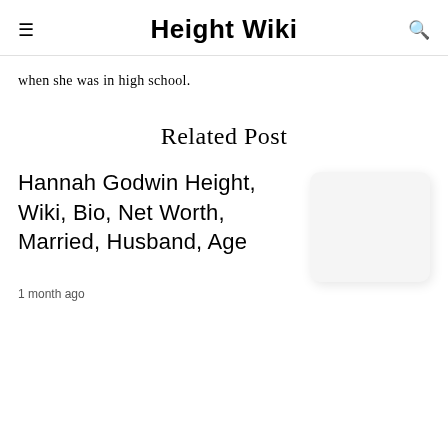Height Wiki
when she was in high school.
Related Post
Hannah Godwin Height, Wiki, Bio, Net Worth, Married, Husband, Age
1 month ago